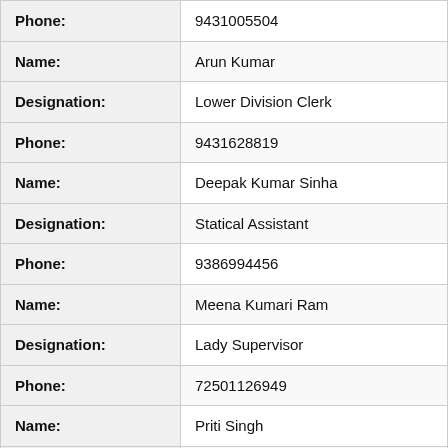| Field | Value |
| --- | --- |
| Phone: | 9431005504 |
| Name: | Arun Kumar |
| Designation: | Lower Division Clerk |
| Phone: | 9431628819 |
| Name: | Deepak Kumar Sinha |
| Designation: | Statical Assistant |
| Phone: | 9386994456 |
| Name: | Meena Kumari Ram |
| Designation: | Lady Supervisor |
| Phone: | 72501126949 |
| Name: | Priti Singh |
| Designation: | Lady Supervisor |
| Email: | pritisingh875[at]gmail[dot]com |